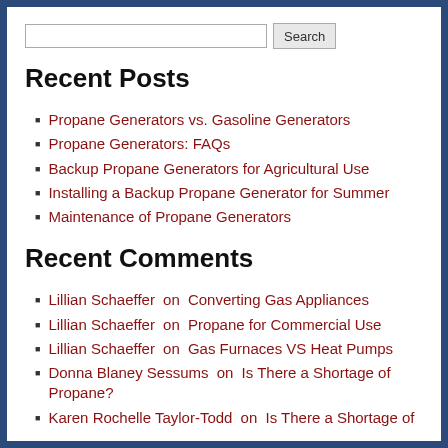Recent Posts
Propane Generators vs. Gasoline Generators
Propane Generators: FAQs
Backup Propane Generators for Agricultural Use
Installing a Backup Propane Generator for Summer
Maintenance of Propane Generators
Recent Comments
Lillian Schaeffer on Converting Gas Appliances
Lillian Schaeffer on Propane for Commercial Use
Lillian Schaeffer on Gas Furnaces VS Heat Pumps
Donna Blaney Sessums on Is There a Shortage of Propane?
Karen Rochelle Taylor-Todd on Is There a Shortage of